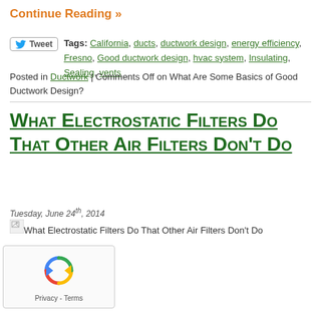Continue Reading »
Tags: California, ducts, ductwork design, energy efficiency, Fresno, Good ductwork design, hvac system, Insulating, Sealing, vents
Posted in Ductwork | Comments Off on What Are Some Basics of Good Ductwork Design?
What Electrostatic Filters Do That Other Air Filters Don't Do
Tuesday, June 24th, 2014
[Figure (other): Broken image thumbnail with alt text: What Electrostatic Filters Do That Other Air Filters Don't Do]
[Figure (other): reCAPTCHA widget showing recycling arrow icon with Privacy and Terms links]